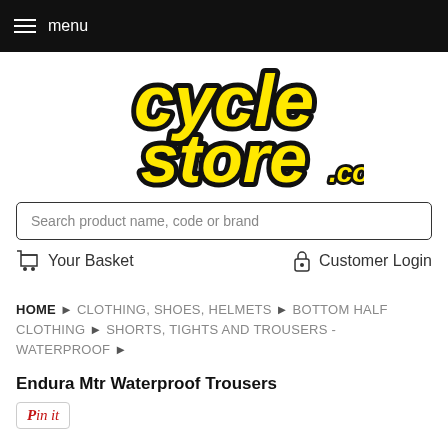menu
[Figure (logo): cyclestore.co.uk logo — yellow italic bold lettering with black outline on white background]
Search product name, code or brand
Your Basket   Customer Login
HOME ▶ CLOTHING, SHOES, HELMETS ▶ BOTTOM HALF CLOTHING ▶ SHORTS, TIGHTS AND TROUSERS - WATERPROOF ▶
Endura Mtr Waterproof Trousers
Pin it